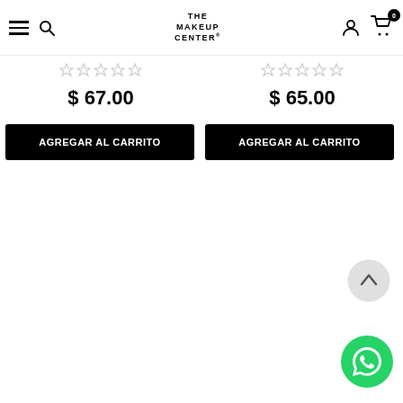THE MAKEUP CENTER - navigation header with hamburger menu, search, logo, user icon, cart (0)
★★★★★ (empty stars rating) - left product
★★★★★ (empty stars rating) - right product
$ 67.00
$ 65.00
AGREGAR AL CARRITO
AGREGAR AL CARRITO
[Figure (other): Scroll to top chevron button (circle with up arrow)]
[Figure (other): WhatsApp contact button (green circle with WhatsApp logo)]